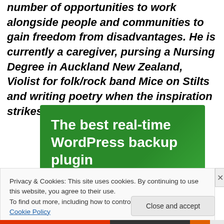number of opportunities to work alongside people and communities to gain freedom from disadvantages. He is currently a caregiver, pursing a Nursing Degree in Auckland New Zealand, Violist for folk/rock band Mice on Stilts and writing poetry when the inspiration strikes.
[Figure (other): Green advertisement banner with white bold text reading 'The best real-time WordPress backup plugin']
Privacy & Cookies: This site uses cookies. By continuing to use this website, you agree to their use.
To find out more, including how to control cookies, see here: Cookie Policy
Close and accept